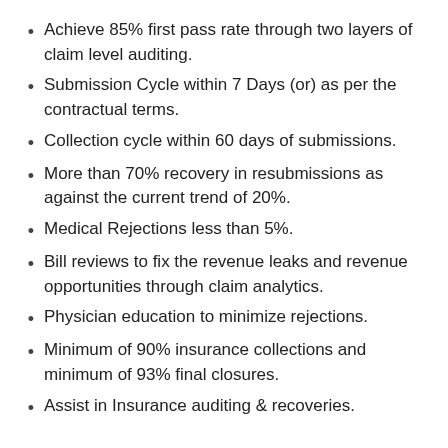Achieve 85% first pass rate through two layers of claim level auditing.
Submission Cycle within 7 Days (or) as per the contractual terms.
Collection cycle within 60 days of submissions.
More than 70% recovery in resubmissions as against the current trend of 20%.
Medical Rejections less than 5%.
Bill reviews to fix the revenue leaks and revenue opportunities through claim analytics.
Physician education to minimize rejections.
Minimum of 90% insurance collections and minimum of 93% final closures.
Assist in Insurance auditing & recoveries.